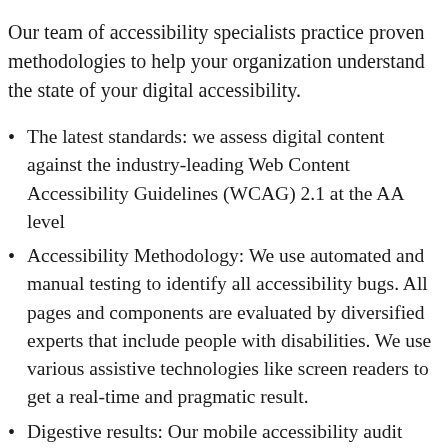Our team of accessibility specialists practice proven methodologies to help your organization understand the state of your digital accessibility.
The latest standards: we assess digital content against the industry-leading Web Content Accessibility Guidelines (WCAG) 2.1 at the AA level
Accessibility Methodology: We use automated and manual testing to identify all accessibility bugs. All pages and components are evaluated by diversified experts that include people with disabilities. We use various assistive technologies like screen readers to get a real-time and pragmatic result.
Digestive results: Our mobile accessibility audit results come in an easy-to-understand format,